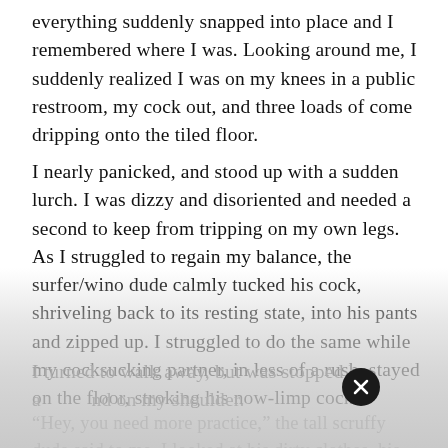everything suddenly snapped into place and I remembered where I was. Looking around me, I suddenly realized I was on my knees in a public restroom, my cock out, and three loads of come dripping onto the tiled floor.
I nearly panicked, and stood up with a sudden lurch. I was dizzy and disoriented and needed a second to keep from tripping on my own legs. As I struggled to regain my balance, the surfer/wino dude calmly tucked his cock, shriveling back to its resting state, into his pants and zipped up. I struggled to do the same while my cocksucking partner, in less of a rush, stayed on the floor, stroking his now-limp cock.
I turned to walk away, but was stopped by a hand on my shoulder.
“Hey, you need more practice,” the tall scruffy dude said to me. I looked at his dirty clothes, his long, stringy hair and gaunt face and felt like I...